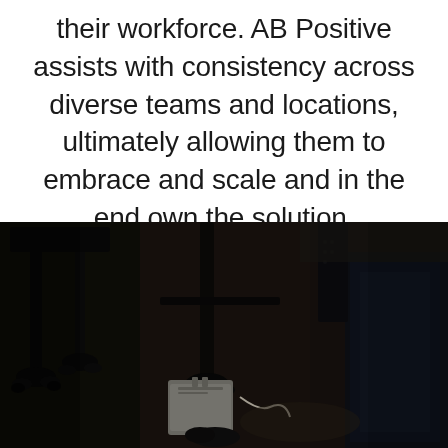their workforce. AB Positive assists with consistency across diverse teams and locations, ultimately allowing them to embrace and scale and in the end own the solution.
[Figure (photo): Dark photograph showing the underside of office chairs and desk legs on a floor, with chair casters and what appears to be a bag or backpack visible beneath the furniture.]